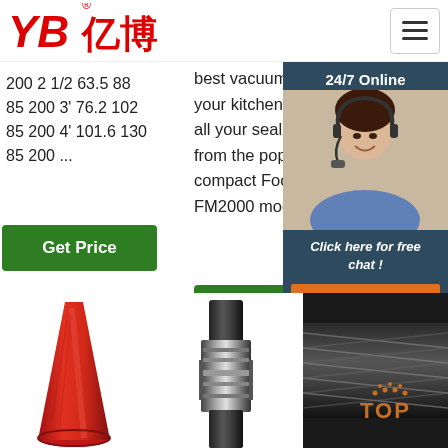[Figure (logo): YB亿博 logo in red with Chinese characters]
200 2 1/2 63.5 88
85 200 3' 76.2 102
85 200 4' 101.6 130
85 200 ...
best vacuum sealer for your kitchen, and satisfy all your sealing needs, from the popular and compact FoodSaver FM2000 model ...
Get Price
Get Price
24/7 Online
[Figure (photo): Customer service agent woman with headset smiling]
Click here for free chat !
QUOTATION
[Figure (photo): Red cone-shaped rubber product]
[Figure (photo): Close-up of metallic hose fitting or coupling]
[Figure (photo): Black rubber hose with TOP badge overlay]